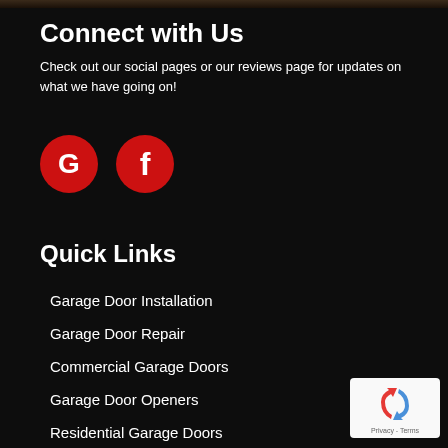Connect with Us
Check out our social pages or our reviews page for updates on what we have going on!
[Figure (logo): Google 'G' icon and Facebook 'f' icon, both in red circles on dark background]
Quick Links
Garage Door Installation
Garage Door Repair
Commercial Garage Doors
Garage Door Openers
Residential Garage Doors
Garage Door Springs
[Figure (logo): Google reCAPTCHA badge with Privacy - Terms text]